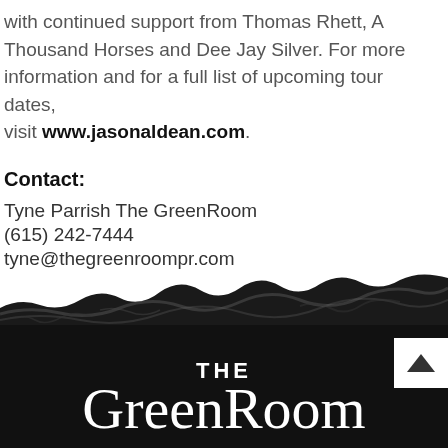with continued support from Thomas Rhett, A Thousand Horses and Dee Jay Silver. For more information and for a full list of upcoming tour dates, visit www.jasonaldean.com.
Contact:
Tyne Parrish The GreenRoom
(615) 242-7444
tyne@thegreenroompr.com
[Figure (logo): The GreenRoom logo on a black brushstroke background. 'THE' in bold uppercase and 'GreenRoom' in white cursive script.]